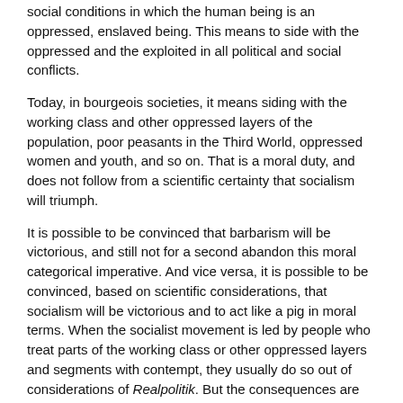social conditions in which the human being is an oppressed, enslaved being. This means to side with the oppressed and the exploited in all political and social conflicts.
Today, in bourgeois societies, it means siding with the working class and other oppressed layers of the population, poor peasants in the Third World, oppressed women and youth, and so on. That is a moral duty, and does not follow from a scientific certainty that socialism will triumph.
It is possible to be convinced that barbarism will be victorious, and still not for a second abandon this moral categorical imperative. And vice versa, it is possible to be convinced, based on scientific considerations, that socialism will be victorious and to act like a pig in moral terms. When the socialist movement is led by people who treat parts of the working class or other oppressed layers and segments with contempt, they usually do so out of considerations of Realpolitik. But the consequences are real political disasters. From the perspective of the working class and the really existing emancipation movements, it is not beneficial to behave like immoral pigs.
That is the lesson we can draw from, among other things, the terrible history of Stalinist repression and the Moscow trials, the great purges of the thirties during which Stalin killed more